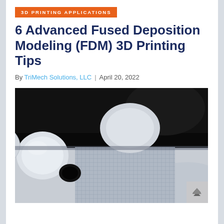3D PRINTING APPLICATIONS
6 Advanced Fused Deposition Modeling (FDM) 3D Printing Tips
By TriMech Solutions, LLC | April 20, 2022
[Figure (photo): Close-up macro photo of a white 3D-printed FDM part showing layered infill structure and circular mounting holes, with a dark background]